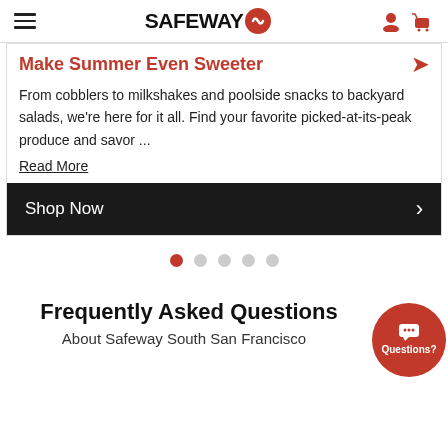SAFEWAY
Make Summer Even Sweeter
From cobblers to milkshakes and poolside snacks to backyard salads, we're here for it all. Find your favorite picked-at-its-peak produce and savor ...
Read More
Shop Now
[Figure (other): Carousel pagination dots, 5 dots, first one active in red]
Frequently Asked Questions
About Safeway South San Francisco